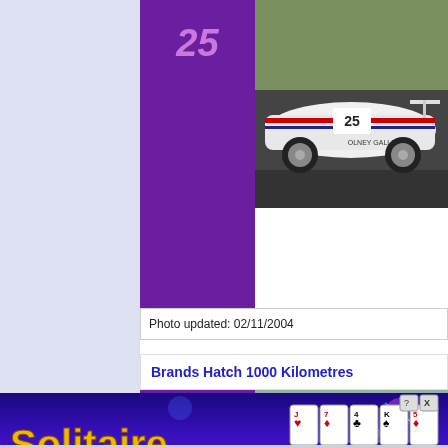[Figure (screenshot): Left sidebar navigation area with light blue/lavender background]
[Figure (photo): Race car number 25, white Porsche 935 with Olney Galleries livery on track]
25
Photo updated: 02/11/2004
Brands Hatch 1000 Kilometres
20
[Figure (photo): Race car number 20, white Porsche 935 on racetrack at Brands Hatch]
[Figure (screenshot): Solitaire advertisement banner with purple background, playing cards, and Play Now button]